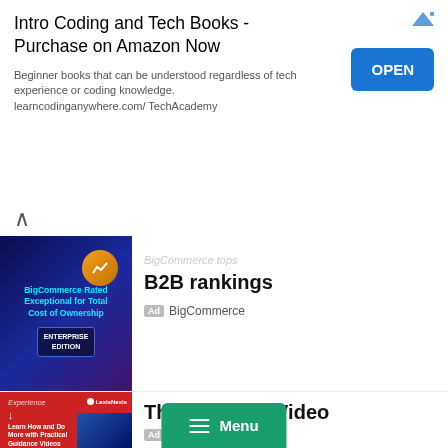[Figure (screenshot): Top advertisement banner: 'Intro Coding and Tech Books - Purchase on Amazon Now' with description text and OPEN button]
[Figure (screenshot): BigCommerce ad: 'BigCommerce tops B2B rankings' with BigCommerce badge, thumbnail showing product image]
[Figure (screenshot): ChromeOS ad: 'Modern signage OS platform' with photo of people working in cafe, ChromeOS badge]
[Figure (screenshot): EAGB ad: 'Greater Baltimore Region' with lab/science photo, EAGB badge]
[Figure (screenshot): LexisNexis ad: 'The Future is Video' with red thumbnail showing LexisNexis branding, partially cut off at bottom]